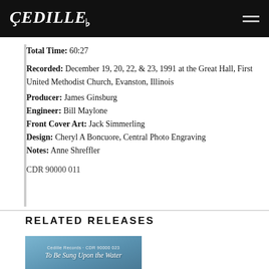[Figure (logo): Cedille Records logo in white text on black background, with hamburger menu icon on right]
Total Time: 60:27
Recorded: December 19, 20, 22, & 23, 1991 at the Great Hall, First United Methodist Church, Evanston, Illinois
Producer: James Ginsburg
Engineer: Bill Maylone
Front Cover Art: Jack Simmerling
Design: Cheryl A Boncuore, Central Photo Engraving
Notes: Anne Shreffler
CDR 90000 011
RELATED RELEASES
[Figure (photo): Album cover image for 'To Be Sung Upon the Water' with blue background]